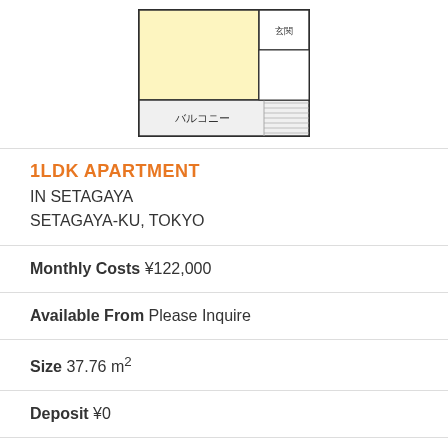[Figure (illustration): Floor plan of a 1LDK apartment unit showing room layout with balcony area and a room labeled in Japanese]
1LDK APARTMENT IN SETAGAYA SETAGAYA-KU, TOKYO
Monthly Costs ¥122,000
Available From Please Inquire
Size 37.76 m²
Deposit ¥0
Key Money ¥119,000
Floor 1 / 2F
Year Built 2012